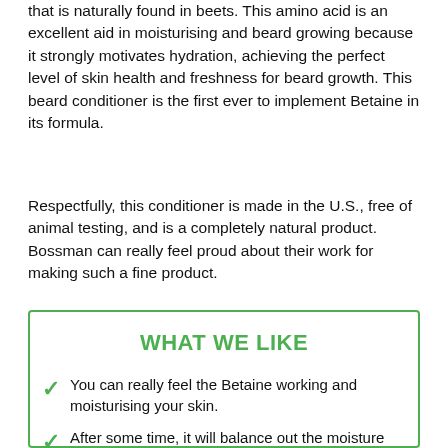that is naturally found in beets. This amino acid is an excellent aid in moisturising and beard growing because it strongly motivates hydration, achieving the perfect level of skin health and freshness for beard growth. This beard conditioner is the first ever to implement Betaine in its formula.
Respectfully, this conditioner is made in the U.S., free of animal testing, and is a completely natural product. Bossman can really feel proud about their work for making such a fine product.
WHAT WE LIKE
You can really feel the Betaine working and moisturising your skin.
After some time, it will balance out the moisture level of your skin, whether it's over moisturised, or suffering from insufficient hydration.